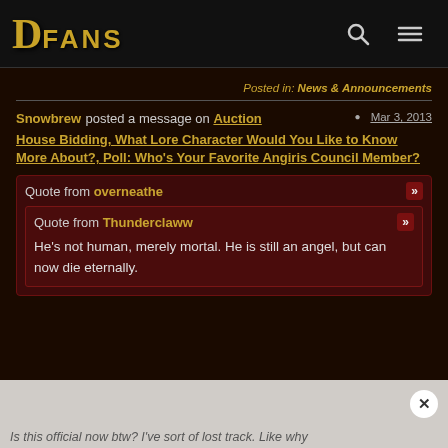DFANS
Posted in: News & Announcements
Snowbrew posted a message on Auction House Bidding, What Lore Character Would You Like to Know More About?, Poll: Who's Your Favorite Angiris Council Member? — Mar 3, 2013
Quote from overneathe
Quote from Thunderclaww
He's not human, merely mortal. He is still an angel, but can now die eternally.
Is this official now btw? I've sort of lost track. Like why